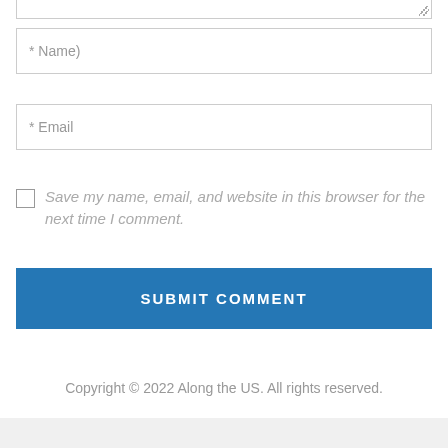* Name)
* Email
Save my name, email, and website in this browser for the next time I comment.
SUBMIT COMMENT
Copyright © 2022 Along the US. All rights reserved.